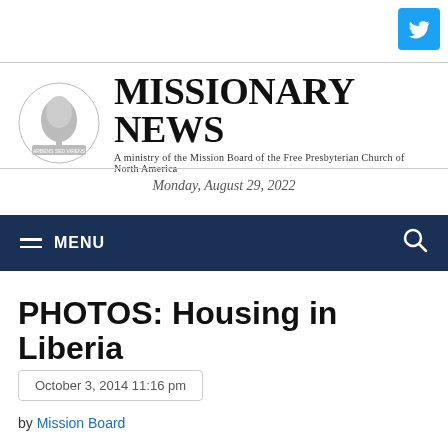[Figure (logo): Twitter bird icon button in blue]
[Figure (logo): Missionary News masthead with tree logo and title text]
Monday, August 29, 2022
[Figure (screenshot): Navigation bar with MENU and search icon on dark blue background]
PHOTOS: Housing in Liberia
October 3, 2014 11:16 pm
by Mission Board